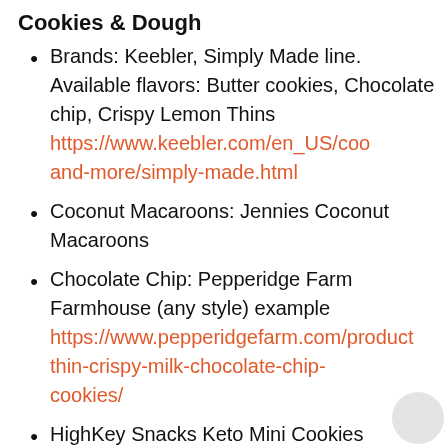Cookies & Dough
Brands: Keebler, Simply Made line. Available flavors: Butter cookies, Chocolate chip, Crispy Lemon Thins https://www.keebler.com/en_US/coo and-more/simply-made.html
Coconut Macaroons: Jennies Coconut Macaroons
Chocolate Chip: Pepperidge Farm Farmhouse (any style) example https://www.pepperidgefarm.com/product thin-crispy-milk-chocolate-chip-cookies/
HighKey Snacks Keto Mini Cookies